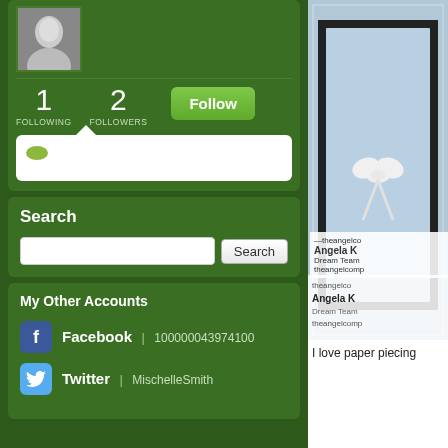[Figure (photo): Profile photo of a woman, grayscale, cropped at top]
1 FOLLOWING   2 FOLLOWERS
[Figure (screenshot): Follow button (green) and tooltip with small avatar]
Search
[Figure (screenshot): Search input field and Search button]
My Other Accounts
Facebook | 100000043974100
Twitter | MischelleSmith
[Figure (photo): Photo of a handmade card with white bow ribbon on dark background with decorative border]
theangelco
Angela K
Dream Team
theangelcomp
I love paper piecing